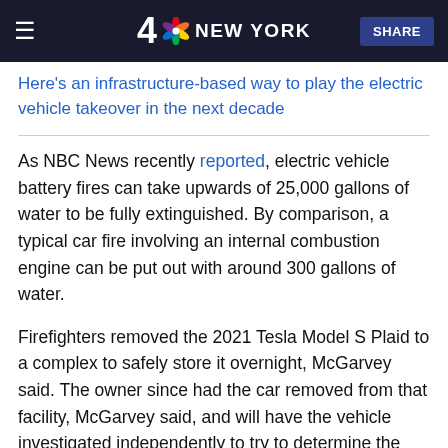4 NBC NEW YORK | SHARE
Here's an infrastructure-based way to play the electric vehicle takeover in the next decade
As NBC News recently reported, electric vehicle battery fires can take upwards of 25,000 gallons of water to be fully extinguished. By comparison, a typical car fire involving an internal combustion engine can be put out with around 300 gallons of water.
Firefighters removed the 2021 Tesla Model S Plaid to a complex to safely store it overnight, McGarvey said. The owner since had the car removed from that facility, McGarvey said, and will have the vehicle investigated independently to try to determine the cause of the fire. McGarvey said his teams had been in touch with Tesla and